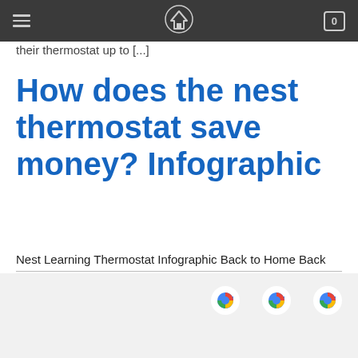[Navigation header with menu icon, home logo, and cart showing 0]
their thermostat up to [...]
How does the nest thermostat save money? Infographic
Nest Learning Thermostat Infographic Back to Home Back to Home
← older
[Footer with Google-style icons]